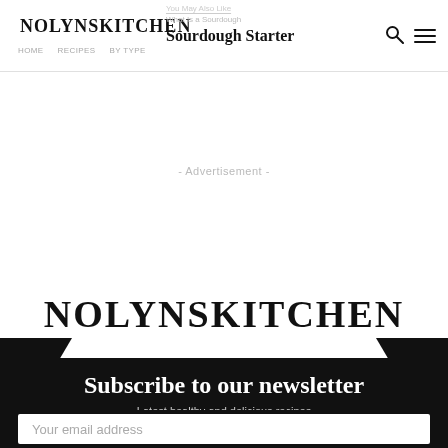NOLYNSKITCHEN
What Is a Sourdough Starter
- Advertisement -
NOLYNSKITCHEN
Subscribe to our newsletter
Latest healthy and delicious recipes
Your email address